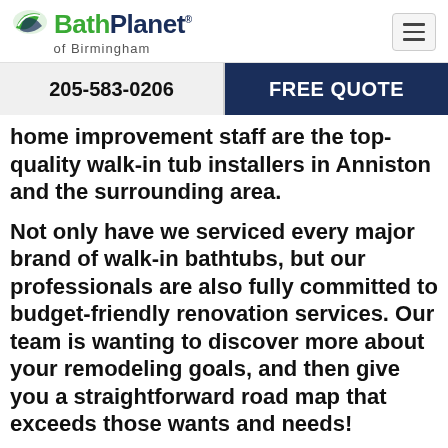Bath Planet of Birmingham
205-583-0206
FREE QUOTE
home improvement staff are the top-quality walk-in tub installers in Anniston and the surrounding area.
Not only have we serviced every major brand of walk-in bathtubs, but our professionals are also fully committed to budget-friendly renovation services. Our team is wanting to discover more about your remodeling goals, and then give you a straightforward road map that exceeds those wants and needs!
Working with our team at Bath Planet Birmingham,